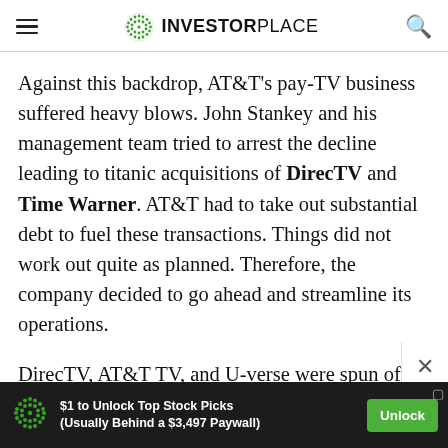INVESTORPLACE
Against this backdrop, AT&T's pay-TV business suffered heavy blows. John Stankey and his management team tried to arrest the decline leading to titanic acquisitions of DirecTV and Time Warner. AT&T had to take out substantial debt to fuel these transactions. Things did not work out quite as planned. Therefore, the company decided to go ahead and streamline its operations.
DirecTV, AT&T TV, and U-verse were spun off into their entity. DirecTV will be co-managed by TPG
[Figure (other): Advertisement banner: $1 to Unlock Top Stock Picks (Usually Behind a $3,497 Paywall) with Unlock button]